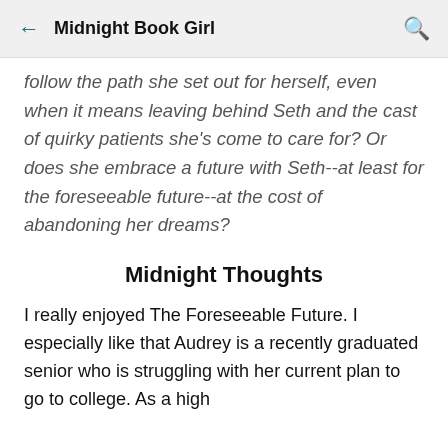← Midnight Book Girl 🔍
follow the path she set out for herself, even when it means leaving behind Seth and the cast of quirky patients she's come to care for? Or does she embrace a future with Seth--at least for the foreseeable future--at the cost of abandoning her dreams?
Midnight Thoughts
I really enjoyed The Foreseeable Future. I especially like that Audrey is a recently graduated senior who is struggling with her current plan to go to college. As a high